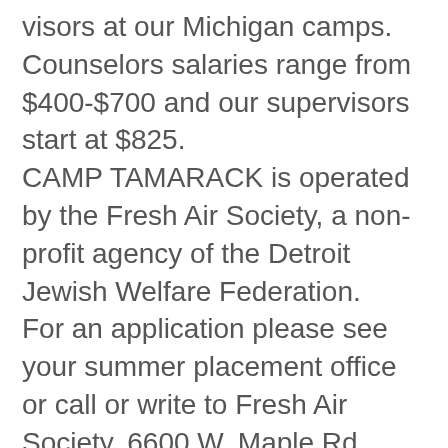visors at our Michigan camps. Counselors salaries range from $400-$700 and our supervisors start at $825. CAMP TAMARACK is operated by the Fresh Air Society, a non-profit agency of the Detroit Jewish Welfare Federation. For an application please see your summer placement office or call or write to Fresh Air Society, 6600 W. Maple Rd., W Bloomfield, Michigan 48033 Our Camp Directors will be at the SAB